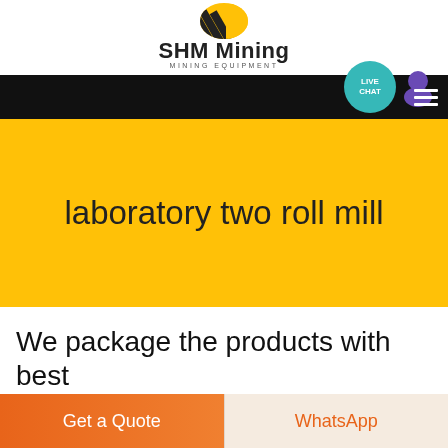[Figure (logo): SHM Mining logo with yellow and black diagonal stripe icon, brand name 'SHM Mining' in bold and subtitle 'MINING EQUIPMENT']
laboratory two roll mill
We package the products with best
Get a Quote
WhatsApp